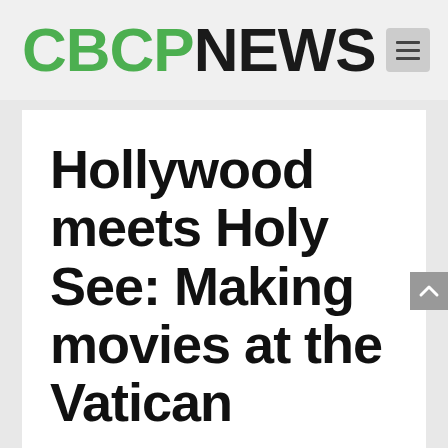CBCP NEWS
Hollywood meets Holy See: Making movies at the Vatican